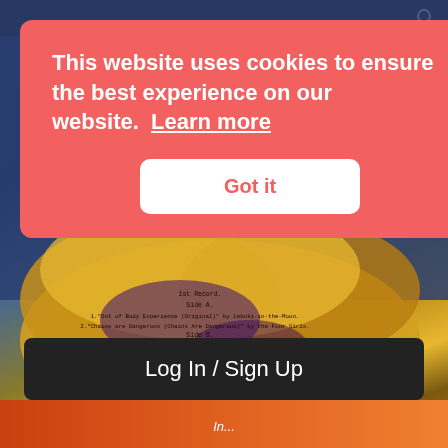This website uses cookies to ensure the best experience on our website.  Learn more
Got it
[Figure (photo): A colorful psychedelic photo of clouds with yellow and blue tones, overlaid with vinyl record track listing text showing Side A, Side B, and Side C entries including tracks by 'Leblik-in-the-Moon' and 'the Four Girls' and 'God Within']
Log In / Sign Up